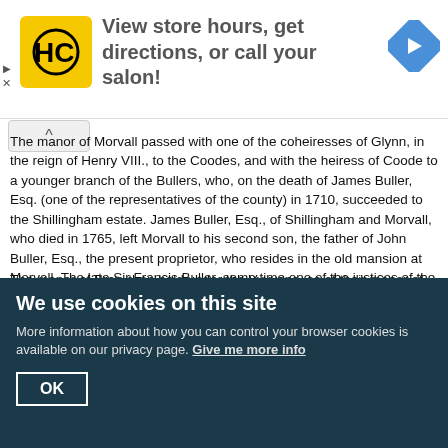[Figure (other): Advertisement banner: HC logo with yellow background, text 'View store hours, get directions, or call your salon!', blue navigation arrow icon]
The manor of Morvall passed with one of the coheiresses of Glynn, in the reign of Henry VIII., to the Coodes, and with the heiress of Coode to a younger branch of the Bullers, who, on the death of James Buller, Esq. (one of the representatives of the county) in 1710, succeeded to the Shillingham estate. James Buller, Esq., of Shillingham and Morvall, who died in 1765, left Morvall to his second son, the father of John Buller, Esq., the present proprietor, who resides in the old mansion at Morvall. The late Sir Francis Buller, some time one of the justices of the King's Bench, and afterwards of the Common Pleas, distinguished by his abilities as a judge, was of this family, and born at Morvall.
The manor of Bray, then held under the Vyvyans, as of their manor of Treviderow, was, in the reign of Charles I., in the Heles, who were succeeded by the Mayows, of which family was Dr. John Mayow, an eminent physician in the reign of King Charles II. who contributed some papers on Respiration, and
We use cookies on this site
More information about how you can control your browser cookies is available on our privacy page. Give me more info
OK